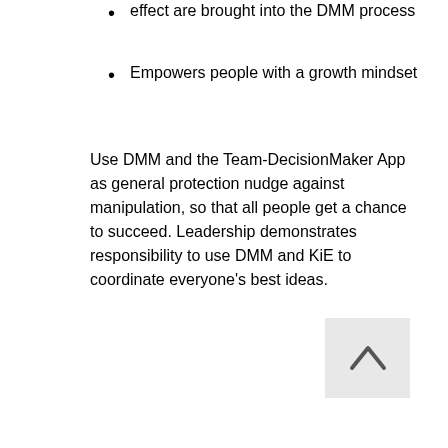effect are brought into the DMM process
Empowers people with a growth mindset
Use DMM and the Team-DecisionMaker App as general protection nudge against manipulation, so that all people get a chance to succeed. Leadership demonstrates responsibility to use DMM and KiE to coordinate everyone's best ideas.
[Figure (other): Back to top button icon — upward pointing chevron/arrow on a light grey square background]